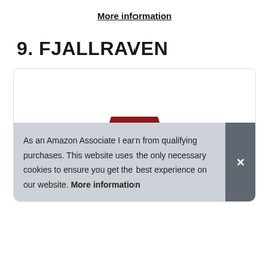More information
9. FJALLRAVEN
[Figure (photo): Product card showing a dark red Fjallraven jacket partially visible at the bottom, with a cookie consent banner overlay.]
As an Amazon Associate I earn from qualifying purchases. This website uses the only necessary cookies to ensure you get the best experience on our website. More information